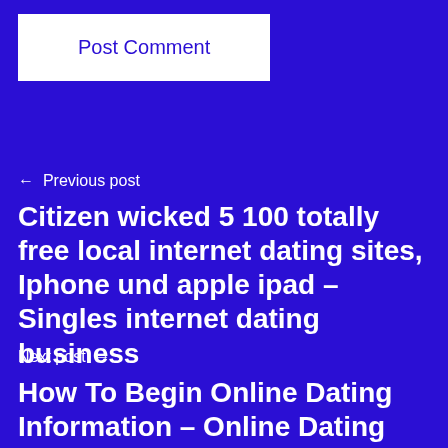Post Comment
← Previous post
Citizen wicked 5 100 totally free local internet dating sites, Iphone und apple ipad – Singles internet dating business
Next post →
How To Begin Online Dating Information – Online Dating Sites